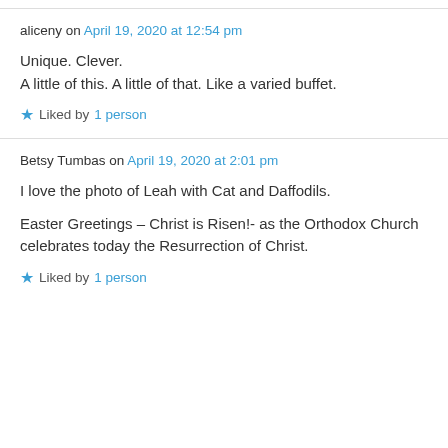aliceny on April 19, 2020 at 12:54 pm
Unique. Clever.
A little of this. A little of that. Like a varied buffet.
★ Liked by 1 person
Betsy Tumbas on April 19, 2020 at 2:01 pm
I love the photo of Leah with Cat and Daffodils.
Easter Greetings – Christ is Risen!- as the Orthodox Church celebrates today the Resurrection of Christ.
★ Liked by 1 person